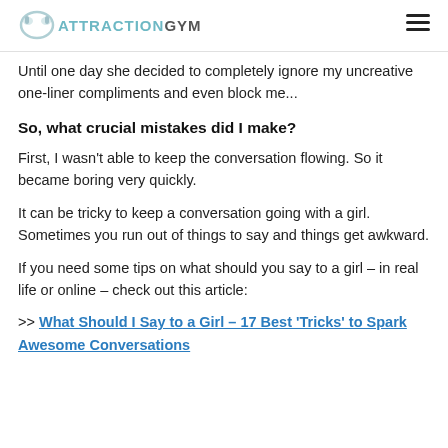ATTRACTIONGYM
Until one day she decided to completely ignore my uncreative one-liner compliments and even block me...
So, what crucial mistakes did I make?
First, I wasn't able to keep the conversation flowing. So it became boring very quickly.
It can be tricky to keep a conversation going with a girl. Sometimes you run out of things to say and things get awkward.
If you need some tips on what should you say to a girl – in real life or online – check out this article:
>> What Should I Say to a Girl – 17 Best 'Tricks' to Spark Awesome Conversations